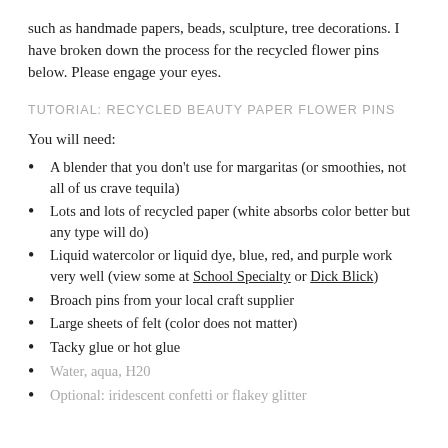such as handmade papers, beads, sculpture, tree decorations. I have broken down the process for the recycled flower pins below. Please engage your eyes.
TUTORIAL: RECYCLED BEAUTY PAPER FLOWER PINS
You will need:
A blender that you don't use for margaritas (or smoothies, not all of us crave tequila)
Lots and lots of recycled paper (white absorbs color better but any type will do)
Liquid watercolor or liquid dye, blue, red, and purple work very well (view some at School Specialty or Dick Blick)
Broach pins from your local craft supplier
Large sheets of felt (color does not matter)
Tacky glue or hot glue
Water, aqua, H20
Optional: iridescent confetti or flakey glitter